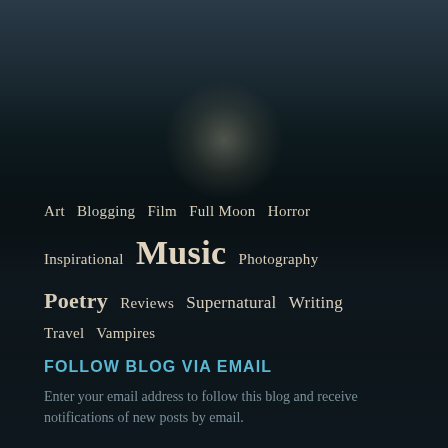[Figure (photo): Dark atmospheric background with moonlit water at night, deep navy and black tones with a subtle glowing moon reflection]
Art  Blogging  Film  Full Moon  Horror
Inspirational  Music  Photography
Poetry  Reviews  Supernatural  Writing
Travel  Vampires
FOLLOW BLOG VIA EMAIL
Enter your email address to follow this blog and receive notifications of new posts by email.